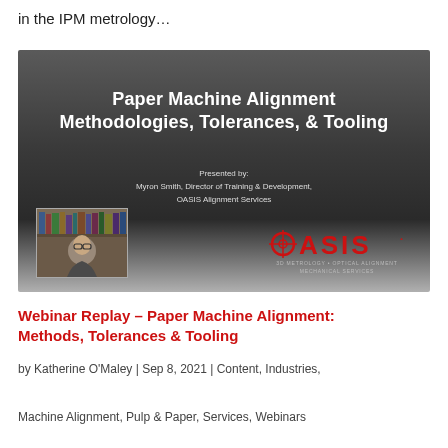in the IPM metrology…
[Figure (screenshot): Webinar slide titled 'Paper Machine Alignment Methodologies, Tolerances, & Tooling'. Presented by Myron Smith, Director of Training & Development, OASIS Alignment Services. Shows presenter photo on left and OASIS logo on right, dark gradient background.]
Webinar Replay – Paper Machine Alignment: Methods, Tolerances & Tooling
by Katherine O'Maley | Sep 8, 2021 | Content, Industries,
Machine Alignment, Pulp & Paper, Services, Webinars